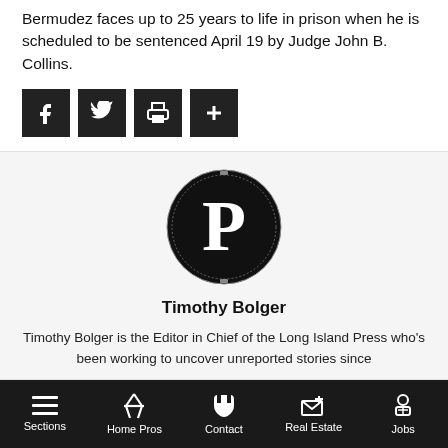Bermudez faces up to 25 years to life in prison when he is scheduled to be sentenced April 19 by Judge John B. Collins.
[Figure (infographic): Row of four social sharing icon buttons: Facebook (f), Twitter (bird), Print (printer), and More (+), each as white icon on black square background]
[Figure (logo): Circular black logo with a large white letter P in serif font, with a thin decorative ring around the edge — Long Island Press logo]
Timothy Bolger
Timothy Bolger is the Editor in Chief of the Long Island Press who's been working to uncover unreported stories since
Sections | Home Pros | Contact | Real Estate | Jobs